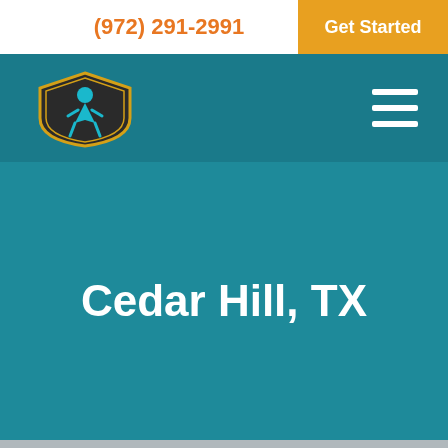(972) 291-2991
Get Started
[Figure (logo): Proactive Pest Services shield logo with pest control figure]
Cedar Hill, TX